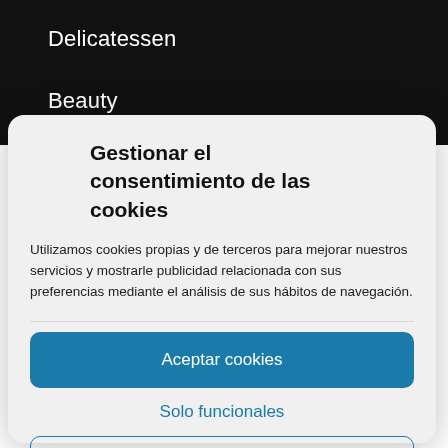Delicatessen
Beauty
Gestionar el consentimiento de las cookies
Utilizamos cookies propias y de terceros para mejorar nuestros servicios y mostrarle publicidad relacionada con sus preferencias mediante el análisis de sus hábitos de navegación.
Aceptar cookies
Solo funcionales
Ver preferencias